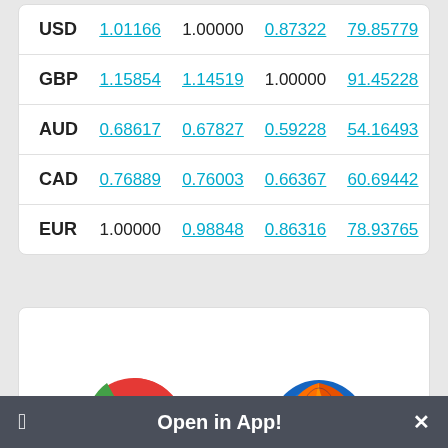|  | Col1 | Col2 | Col3 | Col4 |
| --- | --- | --- | --- | --- |
| USD | 1.01166 | 1.00000 | 0.87322 | 79.85779 |
| GBP | 1.15854 | 1.14519 | 1.00000 | 91.45228 |
| AUD | 0.68617 | 0.67827 | 0.59228 | 54.16493 |
| CAD | 0.76889 | 0.76003 | 0.66367 | 60.69442 |
| EUR | 1.00000 | 0.98848 | 0.86316 | 78.93765 |
[Figure (illustration): Chrome and Firefox browser logos shown side by side inside a white card]
Open in App!